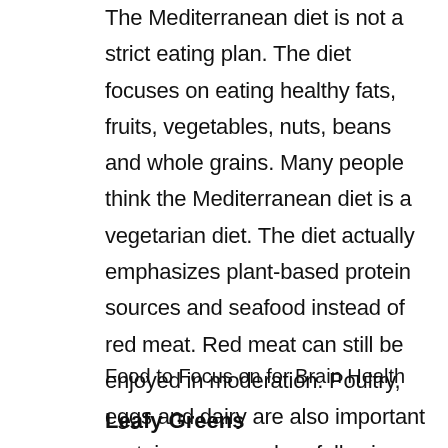The Mediterranean diet is not a strict eating plan. The diet focuses on eating healthy fats, fruits, vegetables, nuts, beans and whole grains. Many people think the Mediterranean diet is a vegetarian diet. The diet actually emphasizes plant-based protein sources and seafood instead of red meat. Red meat can still be enjoyed in moderation. Poultry, eggs and dairy are also important protein sources when following a Mediterranean Diet.
Food to Focus on for Brain Health
Leafy Greens